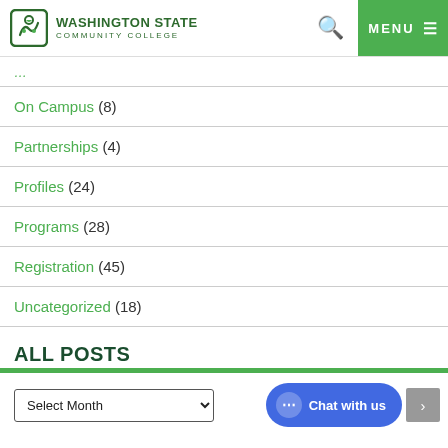[Figure (logo): Washington State Community College logo with green icon and text]
On Campus (8)
Partnerships (4)
Profiles (24)
Programs (28)
Registration (45)
Uncategorized (18)
ALL POSTS
Select Month dropdown